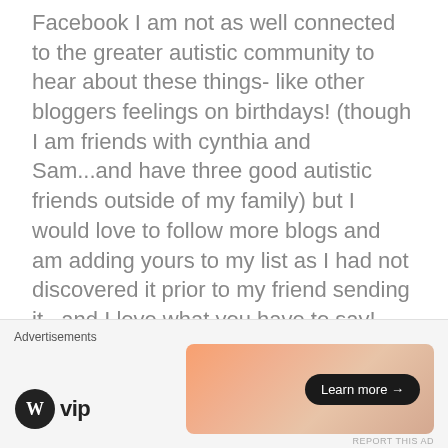Facebook I am not as well connected to the greater autistic community to hear about these things- like other bloggers feelings on birthdays! (though I am friends with cynthia and Sam...and have three good autistic friends outside of my family) but I would love to follow more blogs and am adding yours to my list as I had not discovered it prior to my friend sending it...and I love what you have to say!
I am so glad u sent this to sesame street too:)
Advertisements
[Figure (logo): WordPress VIP logo with WP circle icon and 'vip' text]
[Figure (illustration): Advertisement banner with orange-pink gradient background and 'Learn more →' button]